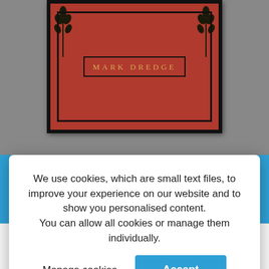[Figure (screenshot): Website screenshot showing a book cover by Mark Dredge on a grey background, with a blue notification bar at the bottom showing checkout message and a Dismiss link, overlaid by a cookie consent modal dialog, and a bottom navigation bar with user, search, and cart icons.]
We use cookies, which are small text files, to improve your experience on our website and to show you personalised content. You can allow all cookies or manage them individually.
Manage cookies
Accept
only show at CHECKOUT.
Dismiss